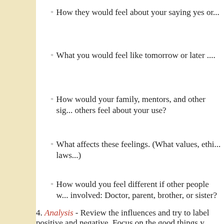How they would feel about your saying yes or...
What you would feel like tomorrow or later ....
How would your family, mentors, and other significant others feel about your use?
What affects these feelings. (What values, ethics, norms, laws...)
How would you feel different if other people were involved: Doctor, parent, brother, or sister?
4. Analysis - Review the influences and try to label the positive and negative. Focus on the good things y...